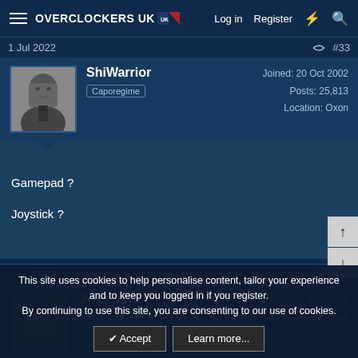Overclockers UK — Log in | Register
1 Jul 2022   #33
ShiWarrior
Caporegime
Joined: 20 Oct 2002
Posts: 25,813
Location: Oxon
Gamepad ?
Joystick ?
1 Jul 2022   #34
Just-Dave
Associate
Joined: 18 Sep 2020
Posts: 566
This site uses cookies to help personalise content, tailor your experience and to keep you logged in if you register.
By continuing to use this site, you are consenting to our use of cookies.